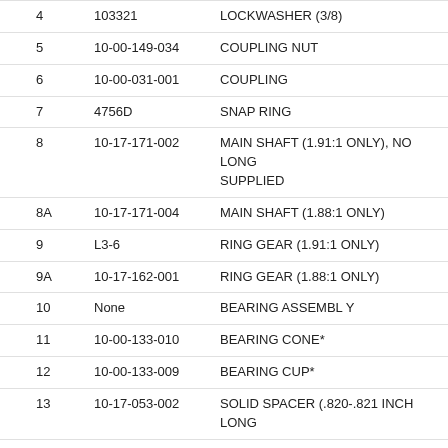| Item | Part No. | Description |
| --- | --- | --- |
| 4 | 103321 | LOCKWASHER (3/8) |
| 5 | 10-00-149-034 | COUPLING NUT |
| 6 | 10-00-031-001 | COUPLING |
| 7 | 4756D | SNAP RING |
| 8 | 10-17-171-002 | MAIN SHAFT (1.91:1 ONLY), NO LONG SUPPLIED |
| 8A | 10-17-171-004 | MAIN SHAFT (1.88:1 ONLY) |
| 9 | L3-6 | RING GEAR (1.91:1 ONLY) |
| 9A | 10-17-162-001 | RING GEAR (1.88:1 ONLY) |
| 10 | None | BEARING ASSEMBL Y |
| 11 | 10-00-133-010 | BEARING CONE* |
| 12 | 10-00-133-009 | BEARING CUP* |
| 13 | 10-17-053-002 | SOLID SPACER (.820-.821 INCH LONG |
| 13A | 10-17-053-003 | SOLID SPACER (.829-.830 INCH LONG |
| 13B | 10-17-053-004 | SOLID SPACER (.832-.833 INCH LONG |
| 13C | 10-17-053-005 | SOLID SPACER (.835-.836 INCH LONG |